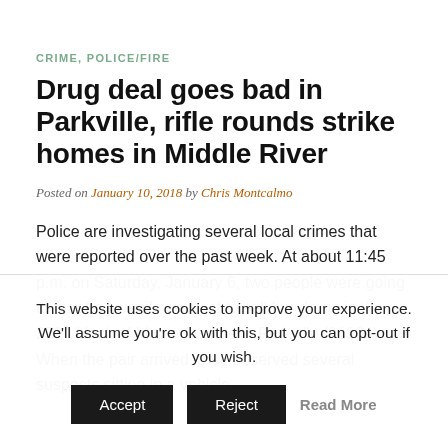CRIME, POLICE/FIRE
Drug deal goes bad in Parkville, rifle rounds strike homes in Middle River
Posted on January 10, 2018 by Chris Montcalmo
Police are investigating several local crimes that were reported over the past week. At about 11:45 p.m. on Saturday, January 6, two people were going to meet a juvenile suspect to sell her drugs in the 2700 block of Maple Avenue in Parkville (21234). When the pair arrived, they observed several suspects sitting in a vehicle
This website uses cookies to improve your experience. We'll assume you're ok with this, but you can opt-out if you wish.